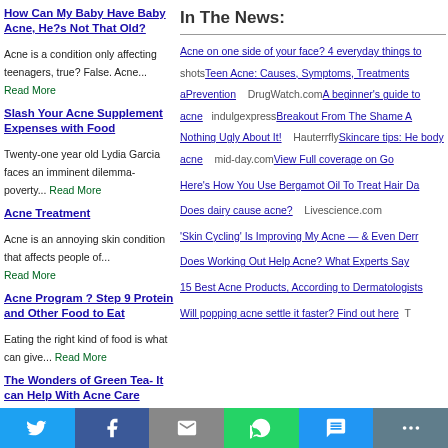How Can My Baby Have Baby Acne, He?s Not That Old?
Acne is a condition only affecting teenagers, true? False. Acne... Read More
Slash Your Acne Supplement Expenses with Food
Twenty-one year old Lydia Garcia faces an imminent dilemma- poverty... Read More
Acne Treatment
Acne is an annoying skin condition that affects people of... Read More
Acne Program ? Step 9 Protein and Other Food to Eat
Eating the right kind of food is what can give... Read More
The Wonders of Green Tea- It can Help With Acne Care
Green tea is the most consumed beverage in the world,... Read More
In The News:
Acne on one side of your face? 4 everyday things to shots Teen Acne: Causes, Symptoms, Treatments a Prevention    DrugWatch.com A beginner's guide to acne    indulgexpress Breakout From The Shame A Nothing Ugly About It!    Hauterrfly Skincare tips: He body acne    mid-day.com View Full coverage on Go
Here's How You Use Bergamot Oil To Treat Hair Da
Does dairy cause acne?    Livescience.com
'Skin Cycling' Is Improving My Acne — & Even Derr
Does Working Out Help Acne? What Experts Say
15 Best Acne Products, According to Dermatologists
Will popping acne settle it faster? Find out here    T
Twitter | Facebook | Email | WhatsApp | SMS | More